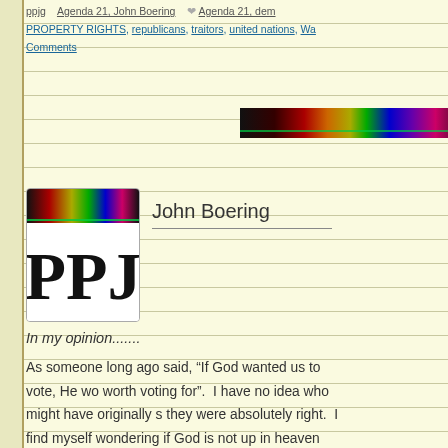ppjg  Agenda 21, John Boering  Agenda 21, dem...
PROPERTY RIGHTS, republicans, traitors, united nations, Wa...
Comments
[Figure (illustration): Rainbow/spectrum colored horizontal banner bar]
[Figure (logo): PPJ logo - black and white with rainbow stripe on top and bold PPJ text]
John Boering
In my opinion.......
As someone long ago said, “If God wanted us to vote, He wo... worth voting for”.  I have no idea who might have originally s... they were absolutely right.  I find myself wondering if God is not up in heaven somewhere laughing his holy behind off over the joke that is our political system.  Could be God is just so tired of us!
[Figure (photo): Photo of surgeons or medical staff in green surgical gowns and caps in an operating room]
As a gentleman in the midst of his senior years, I find myself somewhat thankful for my advanced age.  I most likely will not live to see the end results of the traitorous conduct by all factions of the political system and, the absolute